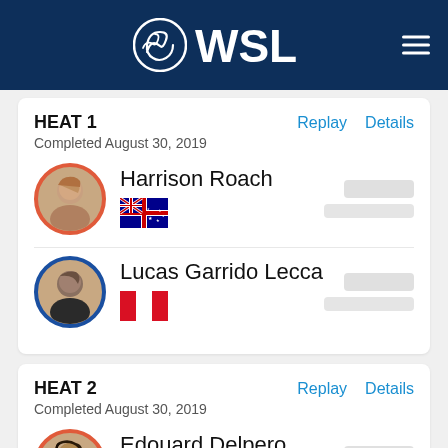[Figure (logo): WSL (World Surf League) logo in white on dark navy blue header bar, with hamburger menu icon on right]
HEAT 1
Completed August 30, 2019
Replay   Details
Harrison Roach
[Figure (illustration): Australian flag]
Lucas Garrido Lecca
[Figure (illustration): Peruvian flag]
HEAT 2
Completed August 30, 2019
Replay   Details
Edouard Delpero
[Figure (illustration): French flag]